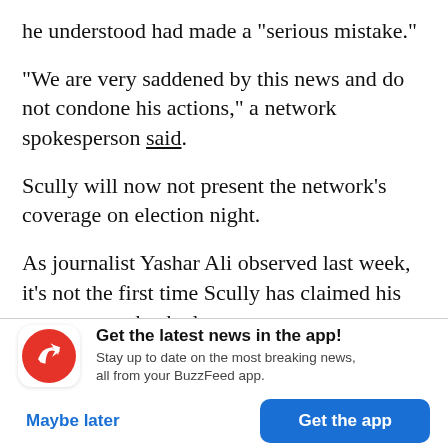he understood had made a "serious mistake."
"We are very saddened by this news and do not condone his actions," a network spokesperson said.
Scully will now not present the network's coverage on election night.
As journalist Yashar Ali observed last week, it's not the first time Scully has claimed his account was hacked.
Get the latest news in the app! Stay up to date on the most breaking news, all from your BuzzFeed app.
Maybe later
Get the app